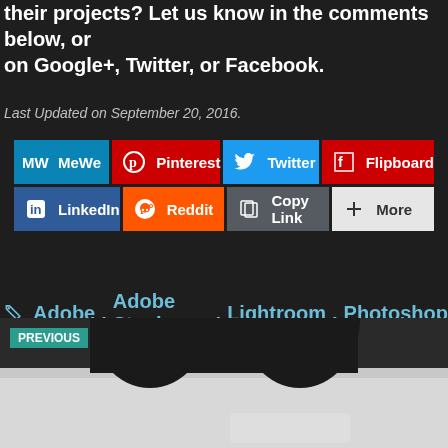their projects? Let us know in the comments below, or on Google+, Twitter, or Facebook.
Last Updated on September 20, 2016.
[Figure (screenshot): Social share buttons grid: Row 1: MeWe (teal), Pinterest (red), Twitter (blue), Flipboard (red). Row 2: LinkedIn (dark blue), Reddit (orange), Copy Link (dark gray), More (light gray).]
Adobe, Adobe Stock, Lightroom, Photoshop
[Figure (photo): Previous article thumbnail showing hands holding a curved device against a light background, with PREVIOUS label in teal.]